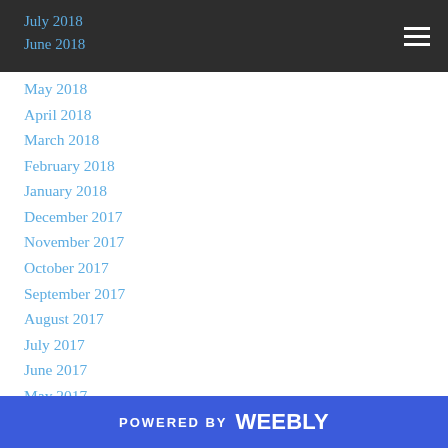July 2018
June 2018
May 2018
April 2018
March 2018
February 2018
January 2018
December 2017
November 2017
October 2017
September 2017
August 2017
July 2017
June 2017
May 2017
April 2017
March 2017
February 2017
POWERED BY weebly